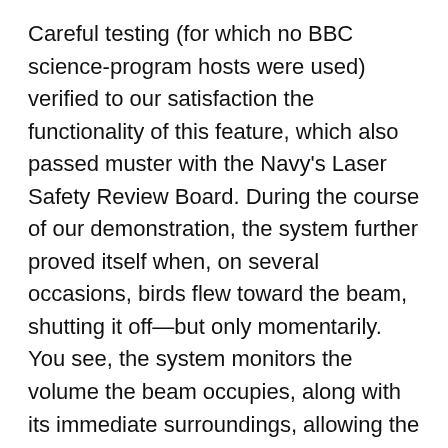Careful testing (for which no BBC science-program hosts were used) verified to our satisfaction the functionality of this feature, which also passed muster with the Navy's Laser Safety Review Board. During the course of our demonstration, the system further proved itself when, on several occasions, birds flew toward the beam, shutting it off—but only momentarily. You see, the system monitors the volume the beam occupies, along with its immediate surroundings, allowing the power link to automatically reestablish itself when the path is once again clear. Think of it as a more sophisticated version of a garage-door safety sensor, where the interruption of a guard beam triggers the motor driving the door to shut off.